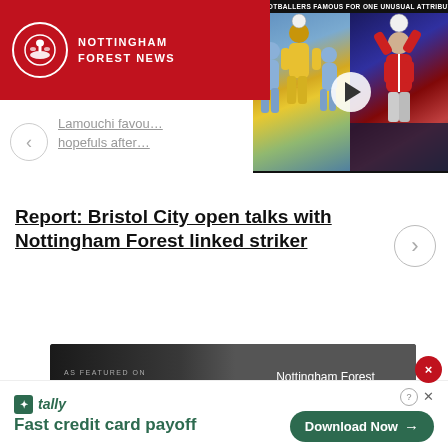NOTTINGHAM FOREST NEWS
[Figure (screenshot): Video thumbnail: Footballers Famous For One Unusual Attribute — two soccer match images side by side with a play button overlay]
Lamouchi favou… hopefuls after…
Report: Bristol City open talks with Nottingham Forest linked striker
[Figure (infographic): News Now banner — AS FEATURED ON NEWS NOW with link to Nottingham Forest News 24/7]
[Figure (infographic): Tally advertisement — Fast credit card payoff with Download Now button]